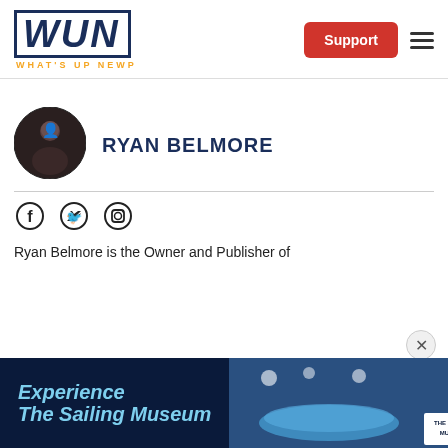WUN - WHAT'S UP NEWP
[Figure (photo): Ryan Belmore circular profile photo]
RYAN BELMORE
[Figure (infographic): Social media icons: Facebook, Twitter, Instagram]
Ryan Belmore is the Owner and Publisher of
[Figure (photo): Experience The Sailing Museum advertisement banner with sailing imagery and logo]